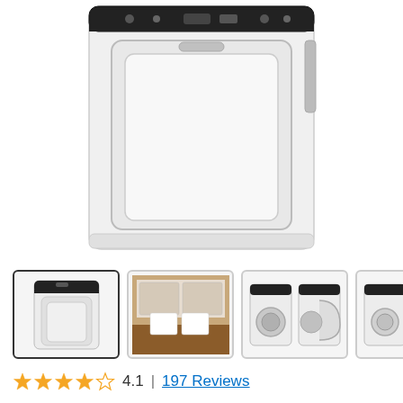[Figure (photo): Top-down/front view of a white Frigidaire gas dryer showing the control panel and door against a white background]
[Figure (photo): Thumbnail row with 4 product images: (1) white dryer front view selected, (2) laundry room lifestyle photo, (3) front view of dryer and washer pair open, (4) front view of dryer and washer pair partially open]
4.1  |  197 Reviews
Frigidaire 6.7 Cu. Ft. Free Standing Gas Dryer